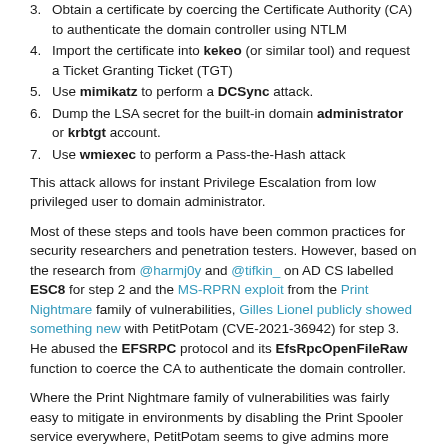3. Obtain a certificate by coercing the Certificate Authority (CA) to authenticate the domain controller using NTLM
4. Import the certificate into kekeo (or similar tool) and request a Ticket Granting Ticket (TGT)
5. Use mimikatz to perform a DCSync attack.
6. Dump the LSA secret for the built-in domain administrator or krbtgt account.
7. Use wmiexec to perform a Pass-the-Hash attack
This attack allows for instant Privilege Escalation from low privileged user to domain administrator.
Most of these steps and tools have been common practices for security researchers and penetration testers. However, based on the research from @harmj0y and @tifkin_ on AD CS labelled ESC8 for step 2 and the MS-RPRN exploit from the Print Nightmare family of vulnerabilities, Gilles Lionel publicly showed something new with PetitPotam (CVE-2021-36942) for step 3. He abused the EFSRPC protocol and its EfsRpcOpenFileRaw function to coerce the CA to authenticate the domain controller.
Where the Print Nightmare family of vulnerabilities was fairly easy to mitigate in environments by disabling the Print Spooler service everywhere, PetitPotam seems to give admins more headaches, because of the sheer configuration changes needed to implement the Microsoft recommended mitigations as part of KB5005413.